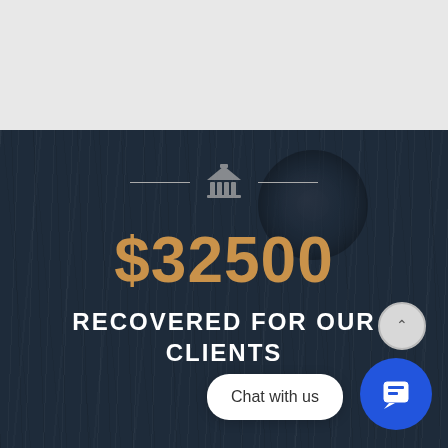[Figure (illustration): Dark navy wood-grain textured background with a courthouse/bank building icon centered at top, flanked by horizontal decorative lines]
$32500
RECOVERED FOR OUR CLIENTS
Chat with us